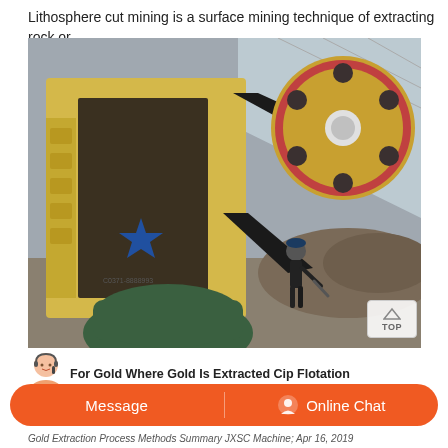Lithosphere cut mining is a surface mining technique of extracting rock or
[Figure (photo): Industrial jaw crusher machine with large belt pulley and drive wheel, painted yellow, with a worker in dark clothing and hard hat standing next to it in an industrial facility. Green motor at the base. Blue star logo visible on the machine body.]
For Gold Where Gold Is Extracted Cip Flotation
Message
Online Chat
Gold Extraction Process Methods Summary JXSC Machine; Apr 16, 2019